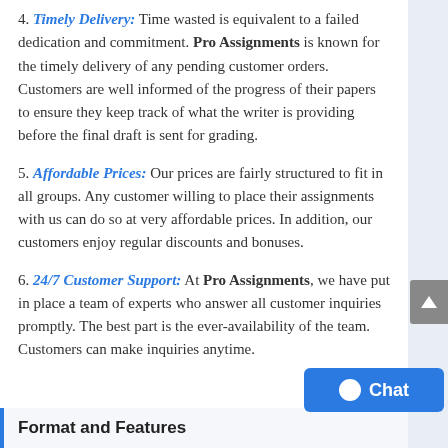4. Timely Delivery: Time wasted is equivalent to a failed dedication and commitment. Pro Assignments is known for the timely delivery of any pending customer orders. Customers are well informed of the progress of their papers to ensure they keep track of what the writer is providing before the final draft is sent for grading.
5. Affordable Prices: Our prices are fairly structured to fit in all groups. Any customer willing to place their assignments with us can do so at very affordable prices. In addition, our customers enjoy regular discounts and bonuses.
6. 24/7 Customer Support: At Pro Assignments, we have put in place a team of experts who answer all customer inquiries promptly. The best part is the ever-availability of the team. Customers can make inquiries anytime.
Format and Features